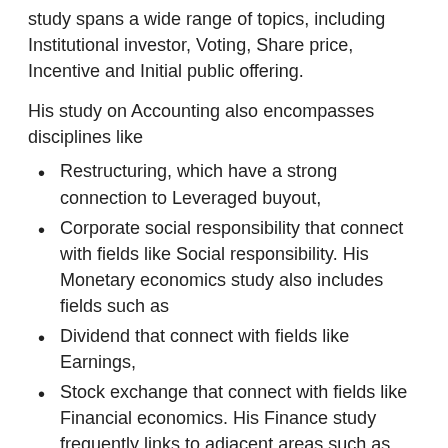study spans a wide range of topics, including Institutional investor, Voting, Share price, Incentive and Initial public offering.
His study on Accounting also encompasses disciplines like
Restructuring, which have a strong connection to Leveraged buyout,
Corporate social responsibility that connect with fields like Social responsibility. His Monetary economics study also includes fields such as
Dividend that connect with fields like Earnings,
Stock exchange that connect with fields like Financial economics. His Finance study frequently links to adjacent areas such as Private sector.
He most often published in these fields: